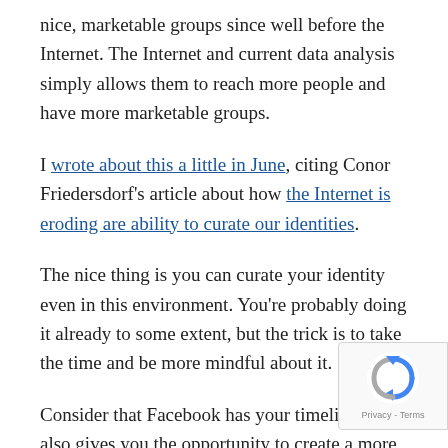nice, marketable groups since well before the Internet. The Internet and current data analysis simply allows them to reach more people and have more marketable groups.
I wrote about this a little in June, citing Conor Friedersdorf's article about how the Internet is eroding are ability to curate our identities.
The nice thing is you can curate your identity even in this environment. You're probably doing it already to some extent, but the trick is to take the time and be more mindful about it.
Consider that Facebook has your timeline, but also gives you the opportunity to create a more public "page." I have many friends who, in addition to their personal presence, also have an official page for themselves as the actor or the
[Figure (logo): reCAPTCHA badge with spinning logo icon and Privacy - Terms text]